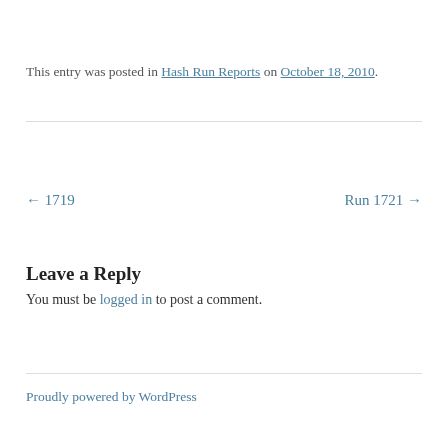This entry was posted in Hash Run Reports on October 18, 2010.
← 1719   Run 1721 →
Leave a Reply
You must be logged in to post a comment.
Proudly powered by WordPress